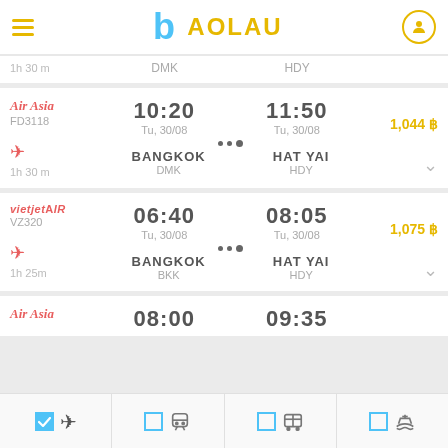Baolau flight search app header
1h 30 m | DMK | HDY
[Figure (screenshot): Air Asia flight listing: FD3118, 10:20 Tu, 30/08 BANGKOK DMK to 11:50 Tu, 30/08 HAT YAI HDY, 1h 30m, 1,044 ฿]
[Figure (screenshot): VietJet Air flight listing: VZ320, 06:40 Tu, 30/08 BANGKOK BKK to 08:05 Tu, 30/08 HAT YAI HDY, 1h 25m, 1,075 ฿]
Air Asia 08:00 | 09:35
Toolbar: flights (checked), trains, buses, ferries